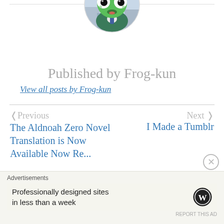[Figure (photo): Circular avatar image of Keroro Gunsou (Sgt. Frog) anime character — a green frog face with big white eyes and black pupils, wearing a military cap, against a city background.]
Published by Frog-kun
View all posts by Frog-kun
< Previous
Next >
The Aldnoah Zero Novel Translation is Now Available Now. Re...
I Made a Tumblr
Advertisements
Professionally designed sites in less than a week